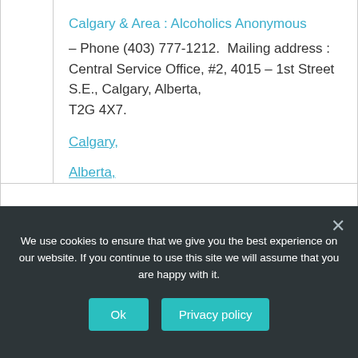Calgary & Area : Alcoholics Anonymous – Phone (403) 777-1212.  Mailing address : Central Service Office, #2, 4015 – 1st Street S.E., Calgary, Alberta, T2G 4X7.
Calgary,
Alberta,
Canada.
We use cookies to ensure that we give you the best experience on our website. If you continue to use this site we will assume that you are happy with it.